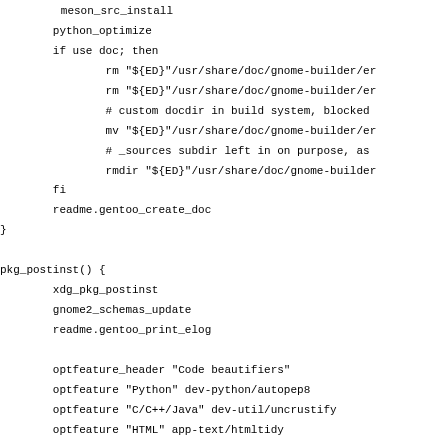meson_src_install
        python_optimize
        if use doc; then
                rm "${ED}"/usr/share/doc/gnome-builder/en
                rm "${ED}"/usr/share/doc/gnome-builder/en
                # custom docdir in build system, blocked
                mv "${ED}"/usr/share/doc/gnome-builder/en
                # _sources subdir left in on purpose, as
                rmdir "${ED}"/usr/share/doc/gnome-builder
        fi
        readme.gentoo_create_doc
}

pkg_postinst() {
        xdg_pkg_postinst
        gnome2_schemas_update
        readme.gentoo_print_elog

        optfeature_header "Code beautifiers"
        optfeature "Python" dev-python/autopep8
        optfeature "C/C++/Java" dev-util/uncrustify
        optfeature "HTML" app-text/htmltidy

        optfeature_header "Language support"
        optfeature "Rust's Cargo build system" virtual/ru
        optfeature "CMake" dev-util/cmake
        optfeature "Java Maven build system" dev-java/mav
        optfeature "Meson Build system" dev-util/meson
}

... () {